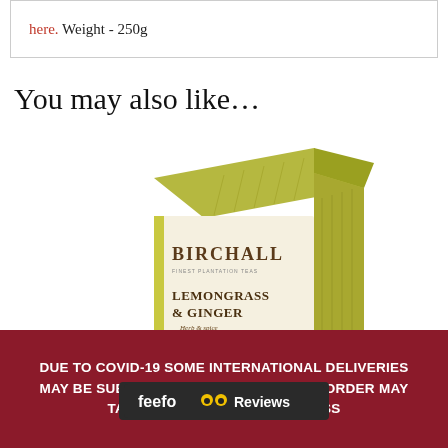here. Weight - 250g
You may also like…
[Figure (photo): Birchall Lemongrass & Ginger tea box product photo]
DUE TO COVID-19 SOME INTERNATIONAL DELIVERIES MAY BE SUBJECT TO DELAYS AND YOUR ORDER MAY TAKE [longer] DISMISS
[Figure (logo): Feefo Reviews logo/button overlay]